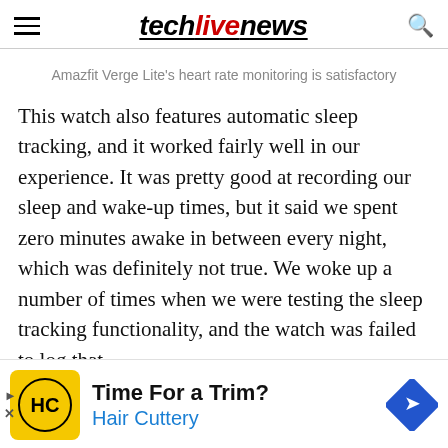techlivenews
Amazfit Verge Lite's heart rate monitoring is satisfactory
This watch also features automatic sleep tracking, and it worked fairly well in our experience. It was pretty good at recording our sleep and wake-up times, but it said we spent zero minutes awake in between every night, which was definitely not true. We woke up a number of times when we were testing the sleep tracking functionality, and the watch was failed to log that.
ry life for the Amazfit Verge Lite was pretty good
[Figure (other): Advertisement banner: Hair Cuttery - Time For a Trim?]